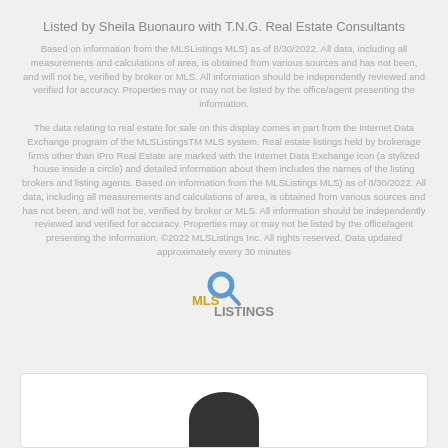Listed by Sheila Buonauro with T.N.G. Real Estate Consultants
Based on information from the MLSListings MLS) as of 8/30/2022. All data, including all measurements and calculations of area, is obtained from various sources and has not been, and will not be, verified by broker or MLS. All information should be independently reviewed and verified for accuracy. Properties may or may not be listed by the office/agent presenting the information.
The data relating to real estate for sale on this display comes in part from the Internet Data Exchange program of the MLSListingsTM MLS system. Real estate listings held by brokerage firms other than iPro Real Estate are marked with the Internet Data Exchange icon (a stylized house inside a circle) and detailed information about them includes the names of the listing brokers and listing agents. Based on information from the MLSListings MLS) as of 8/30/2022. All data, including all measurements and calculations of area, is obtained from various sources and has not been, and will not be, verified by broker or MLS. All information should be independently reviewed and verified for accuracy. Properties may or may not be listed by the office/agent presenting the information. ©2022 MLSListings Inc. All rights reserved. Data updated approximately every 30 minutes
[Figure (logo): MLSListings logo with magnifying glass icon, MLS in gold/yellow and LISTINGS in gray]
[Figure (photo): White card box with a dark circular profile photo placeholder at the bottom center]